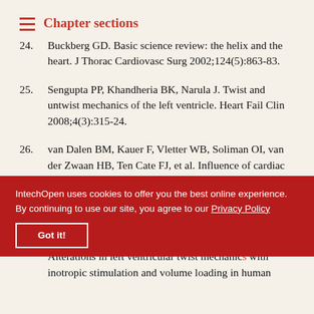Chapter sections
24. Buckberg GD. Basic science review: the helix and the heart. J Thorac Cardiovasc Surg 2002;124(5):863-83.
25. Sengupta PP, Khandheria BK, Narula J. Twist and untwist mechanics of the left ventricle. Heart Fail Clin 2008;4(3):315-24.
26. van Dalen BM, Kauer F, Vletter WB, Soliman OI, van der Zwaan HB, Ten Cate FJ, et al. Influence of cardiac shape on left ventricular rotational mechanics: a real-time three-dimensional echocardiographic study. J Am Soc Echocardiogr 2010;23(1):146-51.
27. Daughters GT, 2nd, Stinson EB, Hansen DE, Miller DC. Alterations in left ventricular twist mechanics with inotropic stimulation and volume loading in human subjects. Circulation. 1992;86(4):...